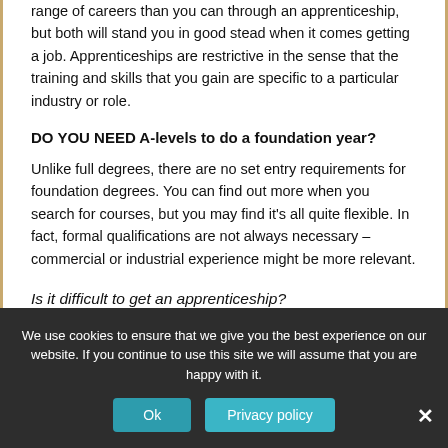range of careers than you can through an apprenticeship, but both will stand you in good stead when it comes getting a job. Apprenticeships are restrictive in the sense that the training and skills that you gain are specific to a particular industry or role.
DO YOU NEED A-levels to do a foundation year?
Unlike full degrees, there are no set entry requirements for foundation degrees. You can find out more when you search for courses, but you may find it’s all quite flexible. In fact, formal qualifications are not always necessary – commercial or industrial experience might be more relevant.
Is it difficult to get an apprenticeship?
We use cookies to ensure that we give you the best experience on our website. If you continue to use this site we will assume that you are happy with it.